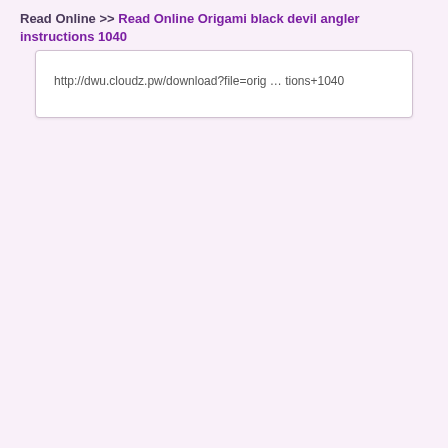Read Online >> Read Online Origami black devil angler instructions 1040
http://dwu.cloudz.pw/download?file=orig … tions+1040